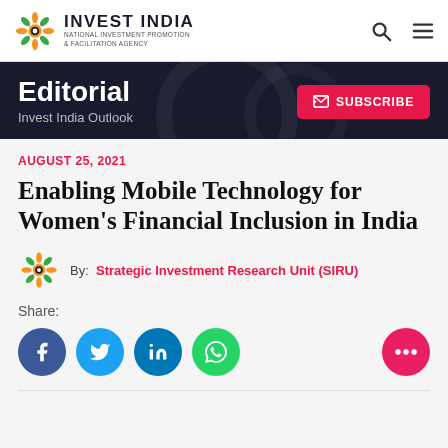INVEST INDIA — NATIONAL INVESTMENT PROMOTION & FACILITATION AGENCY
Editorial — Invest India Outlook
AUGUST 25, 2021
Enabling Mobile Technology for Women's Financial Inclusion in India
By: Strategic Investment Research Unit (SIRU)
Share: